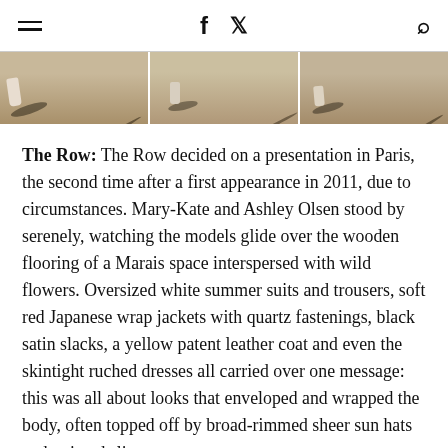≡  f  𝕏  🔍
[Figure (photo): Three cropped photos side by side showing feet/shoes of models walking on a sandy/gravelly surface with shadows]
The Row: The Row decided on a presentation in Paris, the second time after a first appearance in 2011, due to circumstances. Mary-Kate and Ashley Olsen stood by serenely, watching the models glide over the wooden flooring of a Marais space interspersed with wild flowers. Oversized white summer suits and trousers, soft red Japanese wrap jackets with quartz fastenings, black satin slacks, a yellow patent leather coat and even the skintight ruched dresses all carried over one message: this was all about looks that enveloped and wrapped the body, often topped off by broad-rimmed sheer sun hats and pointed slippers